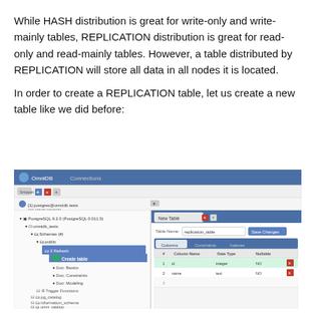While HASH distribution is great for write-only and write-mainly tables, REPLICATION distribution is great for read-only and read-mainly tables. However, a table distributed by REPLICATION will store all data in all nodes it is located.
In order to create a REPLICATION table, let us create a new table like we did before:
[Figure (screenshot): Screenshot of OmniDB/pgAdmin-like database GUI showing a new table creation dialog. Left panel shows a database tree with PostgreSQL 9.2.0, schema 'tests', tables including 'public', with context menu options: Create table, Doc: Basics, Doc: Constraints, Doc: Modeling, Trigger Functions, pg_catalog, information_schema, omni_catalog. Right panel shows a 'New Table' tab with Table Name field filled with 'replication_table', a Save Changes button, and a Columns tab active with a table showing columns: id (integer, NO) and name (text, NO), plus an empty third row.]